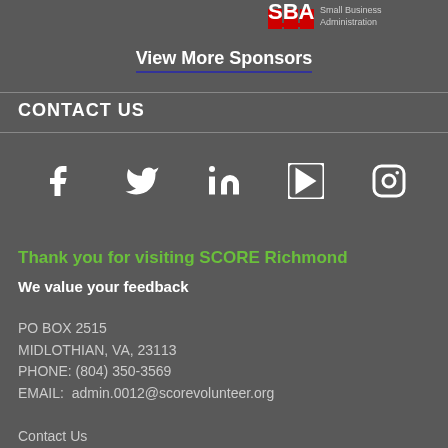[Figure (logo): SBA Small Business Administration logo (partial, top of page)]
View More Sponsors
CONTACT US
[Figure (illustration): Social media icons: Facebook, Twitter, LinkedIn, YouTube, Instagram]
Thank you for visiting SCORE Richmond
We value your feedback
PO BOX 2515
MIDLOTHIAN, VA, 23113
PHONE: (804) 350-3569
EMAIL:  admin.0012@scorevolunteer.org
Contact Us